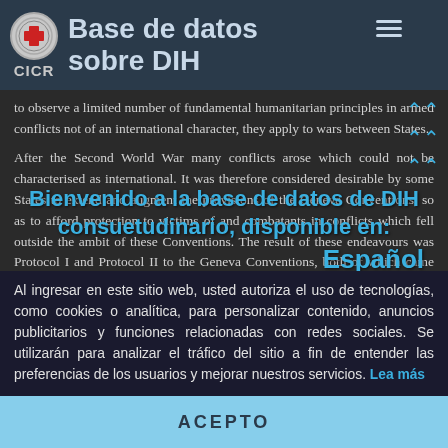Base de datos sobre DIH — CICR
to observe a limited number of fundamental humanitarian principles in armed conflicts not of an international character, they apply to wars between States.

After the Second World War many conflicts arose which could not be characterised as international. It was therefore considered desirable by some States to extend and augment the provisions of the Geneva Conventions, so as to afford protection to victims of and combatants in conflicts which fell outside the ambit of these Conventions. The result of these endeavours was Protocol I and Protocol II to the Geneva Conventions, both of which came into force on 7 December
Bienvenido a la base de datos de DIH consuetudinario, disponible en:
Español
Al ingresar en este sitio web, usted autoriza el uso de tecnologías, como cookies o analítica, para personalizar contenido, anuncios publicitarios y funciones relacionadas con redes sociales. Se utilizarán para analizar el tráfico del sitio a fin de entender las preferencias de los usuarios y mejorar nuestros servicios. Lea más
ACEPTO